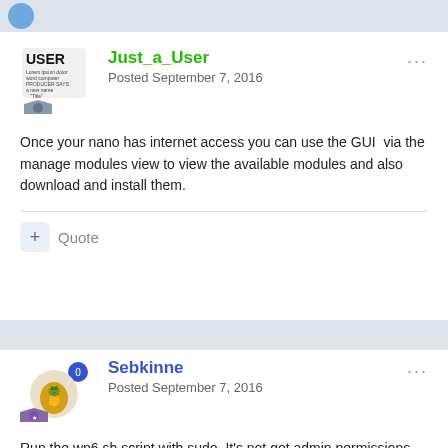Just_a_User
Posted September 7, 2016
Once your nano has internet access you can use the GUI  via the manage modules view to view the available modules and also download and install them.
Quote
Sebkinne
Posted September 7, 2016
Run the wp6.sh script with sudo. It's not got admin permissions as far as I can see.
I'll add a check in the future.